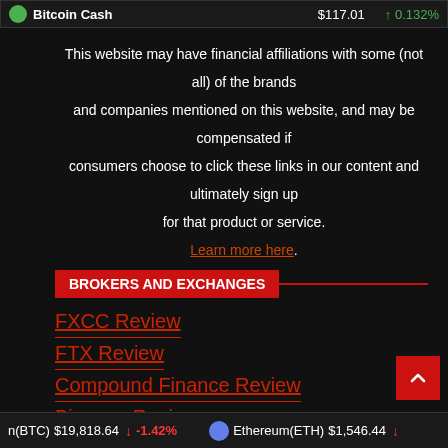Bitcoin Cash $117.01 ↑ 0.132%
This website may have financial affiliations with some (not all) of the brands and companies mentioned on this website, and may be compensated if consumers choose to click these links in our content and ultimately sign up for that product or service. Learn more here.
BROKERS AND EXCHANGES
FXCC Review
FTX Review
Compound Finance Review
Binance Review
n(BTC) $19,818.64 ↓ -1.42% Ethereum(ETH) $1,546.44 ↓